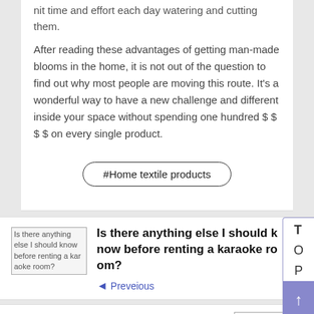nit time and effort each day watering and cutting them.
After reading these advantages of getting man-made blooms in the home, it is not out of the question to find out why most people are moving this route. It's a wonderful way to have a new challenge and different inside your space without spending one hundred $ $ $ $ on every single product.
#Home textile products
[Figure (other): Broken image placeholder for article: Is there anything else I should know before renting a karaoke room?]
Is there anything else I should know before renting a karaoke room?
◄ Preveious
How can You Get More Exciting While Betting On-line?
[Figure (other): Broken image placeholder for article: How can You Get More Exciting While Betting On-line?]